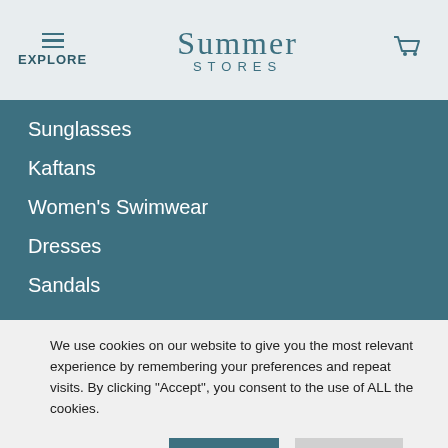EXPLORE | SUMMER STORES
Sunglasses
Kaftans
Women's Swimwear
Dresses
Sandals
COSTUMER SERVICE
Contact
Payment Options
Shipping & Returns
We use cookies on our website to give you the most relevant experience by remembering your preferences and repeat visits. By clicking "Accept", you consent to the use of ALL the cookies.
Cookie settings | ACCEPT | REJECT